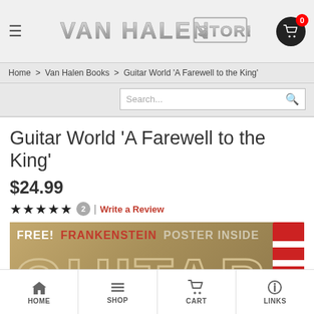VAN HALEN STORE
Home > Van Halen Books > Guitar World 'A Farewell to the King'
Guitar World 'A Farewell to the King'
$24.99
★★★★★ 2 | Write a Review
[Figure (photo): Guitar World magazine cover with text FREE! FRANKENSTEIN POSTER INSIDE and large GUITAR text on tan/brown background, with guitar neck visible on right side]
HOME  SHOP  CART  LINKS